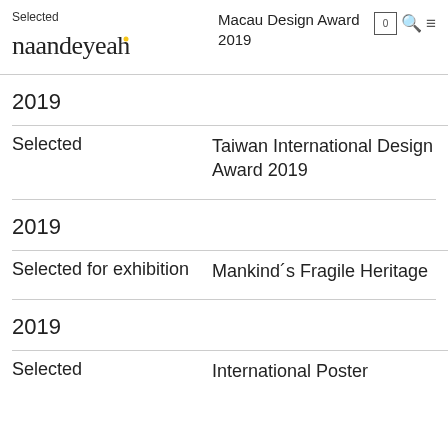Selected | naandeyeah | Macau Design Award 2019
2019
Selected
Taiwan International Design Award 2019
2019
Selected for exhibition
Mankind´s Fragile Heritage
2019
Selected
International Poster